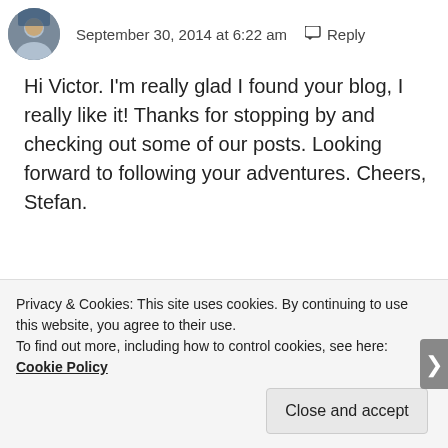September 30, 2014 at 6:22 am   Reply
Hi Victor. I'm really glad I found your blog, I really like it! Thanks for stopping by and checking out some of our posts. Looking forward to following your adventures. Cheers, Stefan.
★ Like
Victor Tribunsky
Privacy & Cookies: This site uses cookies. By continuing to use this website, you agree to their use. To find out more, including how to control cookies, see here: Cookie Policy
Close and accept